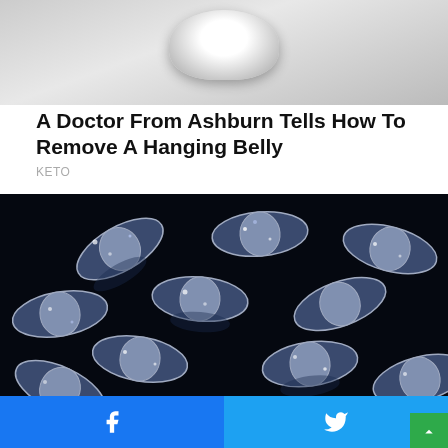[Figure (photo): Partial view of a kitchen scale or bowl on a wooden surface, cropped at top]
A Doctor From Ashburn Tells How To Remove A Hanging Belly
KETO
[Figure (photo): Pile of transparent capsule pills with blue/silver glitter contents on a black reflective surface]
No Prescription Needed In Virginia & It's Strong Than Adderall